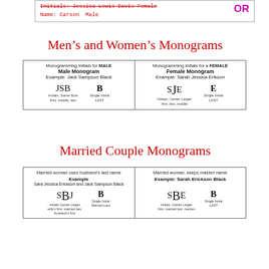Initials: Jessica Lewis Davis Female
Name: Carson Male
Men’s and Women’s Monograms
| Monogramming Initials for MALE | Monogramming Initials for a FEMALE |
| --- | --- |
| Male Monogram
Example: Jack Sampson Black | Female Monogram
Example: Sarah Jessica Erikson |
| JSB
Initials, Same Size
first, middle, last

B
Single Initial
LAST | SJE
Initials, Center Larger
first, last, middle

E
Single Initial
LAST |
Married Couple Monograms
| Married woman uses husband’s last name | Married woman, keeps maiden name |
| --- | --- |
| Example
Sara Jessica Erickson and Jack Sampson Black | Example: Sarah Erickson Black |
| SBJ
Initials Center Larger
wife’s first, married last,
husband’s first

B
Single Initial
Married Last | SBE
Initials, Center Larger
first, married last, maiden

B
Single Initial
LAST |